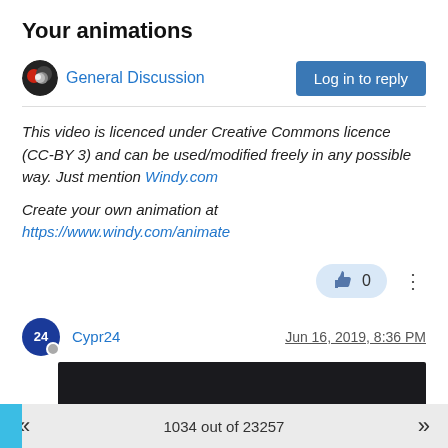Your animations
General Discussion
Log in to reply
This video is licenced under Creative Commons licence (CC-BY 3) and can be used/modified freely in any possible way. Just mention Windy.com
Create your own animation at https://www.windy.com/animate
0
Cypr24
Jun 16, 2019, 8:36 PM
[Figure (screenshot): Dark video thumbnail area]
1034 out of 23257